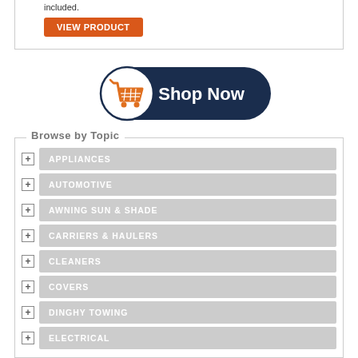included.
[Figure (other): Orange VIEW PRODUCT button]
[Figure (other): Shop Now button with orange shopping cart icon on dark navy background]
Browse by Topic
APPLIANCES
AUTOMOTIVE
AWNING SUN & SHADE
CARRIERS & HAULERS
CLEANERS
COVERS
DINGHY TOWING
ELECTRICAL